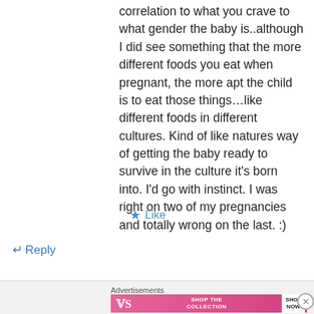correlation to what you crave to what gender the baby is..although I did see something that the more different foods you eat when pregnant, the more apt the child is to eat those things…like different foods in different cultures. Kind of like natures way of getting the baby ready to survive in the culture it's born into. I'd go with instinct. I was right on two of my pregnancies and totally wrong on the last. :)
★ Like
↵ Reply
Advertisements
[Figure (other): Victoria's Secret advertisement banner with pink background, logo, 'SHOP THE COLLECTION' text, and 'SHOP NOW' button]